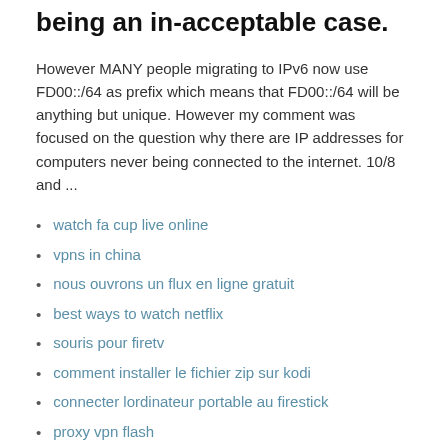being an in-acceptable case.
However MANY people migrating to IPv6 now use FD00::/64 as prefix which means that FD00::/64 will be anything but unique. However my comment was focused on the question why there are IP addresses for computers never being connected to the internet. 10/8 and ...
watch fa cup live online
vpns in china
nous ouvrons un flux en ligne gratuit
best ways to watch netflix
souris pour firetv
comment installer le fichier zip sur kodi
connecter lordinateur portable au firestick
proxy vpn flash
creating a virtual private network (vpn) connection in windows 7